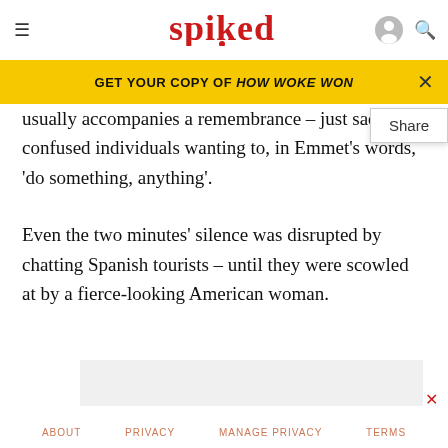spiked
GET YOUR COPY OF HOW WOKE WON
usually accompanies a remembrance – just sad, confused individuals wanting to, in Emmet's words, 'do something, anything'.
Even the two minutes' silence was disrupted by chatting Spanish tourists – until they were scowled at by a fierce-looking American woman.
ABOUT   PRIVACY   MANAGE PRIVACY   TERMS